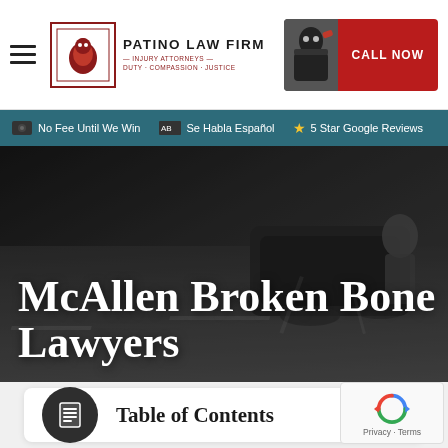[Figure (screenshot): Navigation bar with hamburger menu, Patino Law Firm logo, and Call Now button with ninja figure]
No Fee Until We Win   Se Habla Español   5 Star Google Reviews
McAllen Broken Bone Lawyers
[Figure (photo): Background hero image showing a road accident scene with dark tones]
Table of Contents
[Figure (illustration): Dark circular icon with document/list symbol representing table of contents]
[Figure (other): reCAPTCHA privacy widget in bottom right corner showing Privacy - Terms]